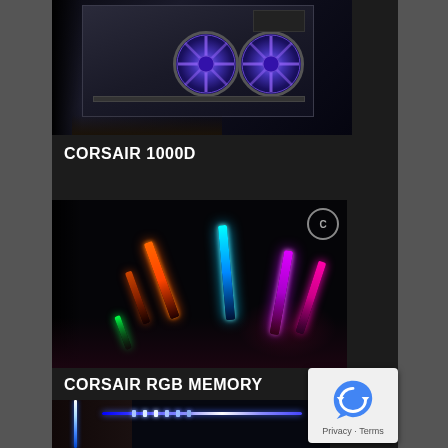[Figure (photo): Photo of a Corsair 1000D PC case with illuminated fans (blue/purple RGB) visible inside the open case, dark background]
CORSAIR 1000D
[Figure (photo): Close-up photo of RGB RAM memory sticks with colorful lighting — orange, cyan/blue, purple/pink glowing sticks against a dark background]
CORSAIR RGB MEMORY
[Figure (photo): Partial photo of a PC build showing LED strip lighting and components, partially cut off at bottom of page]